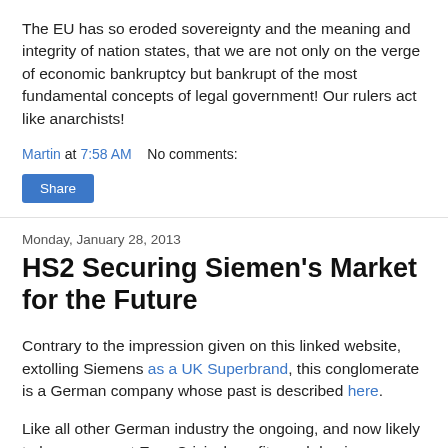The EU has so eroded sovereignty and the meaning and integrity of nation states, that we are not only on the verge of economic bankruptcy but bankrupt of the most fundamental concepts of legal government! Our rulers act like anarchists!
Martin at 7:58 AM    No comments:
Share
Monday, January 28, 2013
HS2 Securing Siemen's Market for the Future
Contrary to the impression given on this linked website, extolling Siemens as a UK Superbrand, this conglomerate is a German company whose past is described here.
Like all other German industry the ongoing, and now likely to be permanent Euro Crisis, benefits such businesses, mainly in the longer run, by lower German interest rates allowing